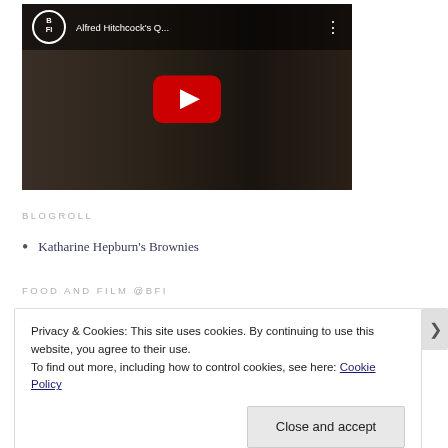[Figure (screenshot): YouTube video thumbnail showing BFI channel video titled 'Alfred Hitchcock's Q...' with a red play button overlay and a person in a dark kitchen scene in the background.]
BLOGROLL
Katharine Hepburn's Brownies
FOOD AND FILM @BFI
Privacy & Cookies: This site uses cookies. By continuing to use this website, you agree to their use.
To find out more, including how to control cookies, see here: Cookie Policy
Close and accept